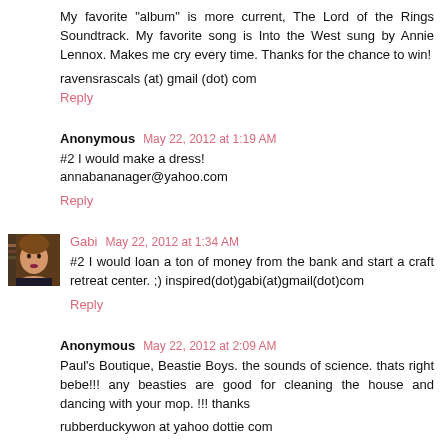My favorite "album" is more current, The Lord of the Rings Soundtrack. My favorite song is Into the West sung by Annie Lennox. Makes me cry every time. Thanks for the chance to win!
ravensrascals (at) gmail (dot) com
Reply
Anonymous  May 22, 2012 at 1:19 AM
#2 I would make a dress!
annabananager@yahoo.com
Reply
[Figure (photo): Avatar photo of commenter Gabi - woman with light brown hair]
Gabi  May 22, 2012 at 1:34 AM
#2 I would loan a ton of money from the bank and start a craft retreat center. ;) inspired(dot)gabi(at)gmail(dot)com
Reply
Anonymous  May 22, 2012 at 2:09 AM
Paul's Boutique, Beastie Boys. the sounds of science. thats right bebe!!! any beasties are good for cleaning the house and dancing with your mop. !!! thanks
rubberduckywon at yahoo dottie com